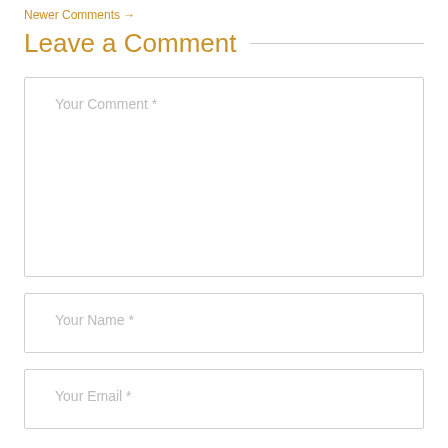Newer Comments →
Leave a Comment
Your Comment *
Your Name *
Your Email *